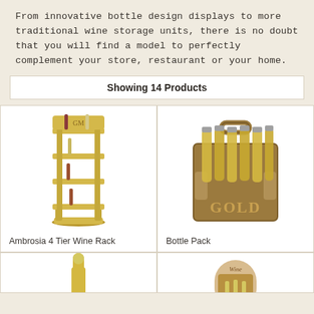From innovative bottle design displays to more traditional wine storage units, there is no doubt that you will find a model to perfectly complement your store, restaurant or your home.
Showing 14 Products
[Figure (photo): Ambrosia 4 Tier Wine Rack — a tall golden wooden rack with four shelves holding wine bottles, decorative carvings at top]
Ambrosia 4 Tier Wine Rack
[Figure (photo): Bottle Pack — a wooden carrier with handle holding six beer/wine bottles, labeled GOLD on the front]
Bottle Pack
[Figure (photo): Bottom-left product — partial view of a golden/yellow wine bottle shape]
[Figure (photo): Bottom-right product — partial view of a wooden wine display stand with arch top labeled Wine and small bottles]